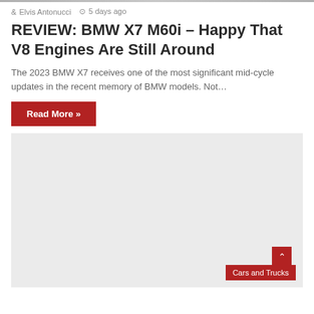Elvis Antonucci   5 days ago
REVIEW: BMW X7 M60i – Happy That V8 Engines Are Still Around
The 2023 BMW X7 receives one of the most significant mid-cycle updates in the recent memory of BMW models. Not…
Read More »
[Figure (photo): Gray placeholder image for a BMW X7 M60i article photo, with a 'Cars and Trucks' category badge in the bottom right corner.]